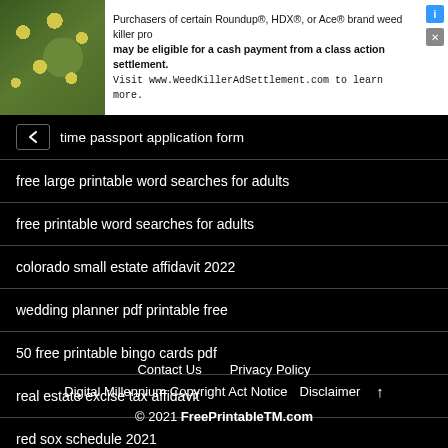[Figure (screenshot): Advertisement banner with photo of yellow flowers and green foliage on the left, and text about Roundup/HDX/Ace brand weed killer class action settlement on the right, with close/info icons.]
time passport application form
free large printable word searches for adults
free printable word searches for adults
colorado small estate affidavit 2022
wedding planner pdf printable free
50 free printable bingo cards pdf
real estate excise tax affidavit
red sox schedule 2021
Contact Us   Privacy Policy   Digital Millennium Copyright Act Notice   Disclaimer   ↑   © 2021 FreePrintableTM.com